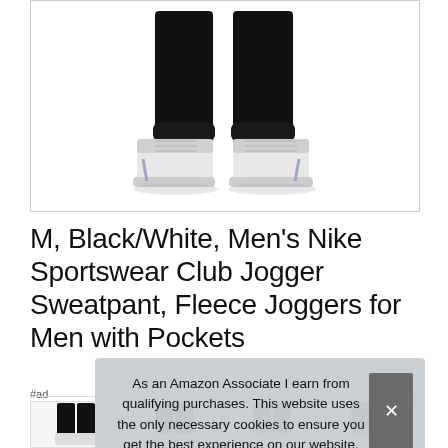[Figure (photo): Product photo showing lower half of model wearing black Nike jogger sweatpants and white high-top sneakers, cropped at thigh level, on white background, inside a rounded-corner bordered box]
M, Black/White, Men's Nike Sportswear Club Jogger Sweatpant, Fleece Joggers for Men with Pockets
#ad
As an Amazon Associate I earn from qualifying purchases. This website uses the only necessary cookies to ensure you get the best experience on our website. More information
[Figure (photo): Row of thumbnail product images at the bottom of the page]